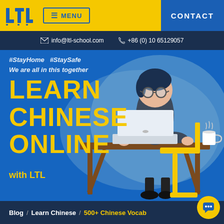LTL   MENU   CONTACT
info@ltl-school.com   +86 (0) 10 65129057
#StayHome  #StaySafe
We are all in this together
LEARN CHINESE ONLINE with LTL
[Figure (illustration): Illustrated person in dark clothing sitting at a desk working on a laptop, with a coffee cup nearby, on a light blue blob background]
Blog  /  Learn Chinese  /  500+ Chinese Vocab